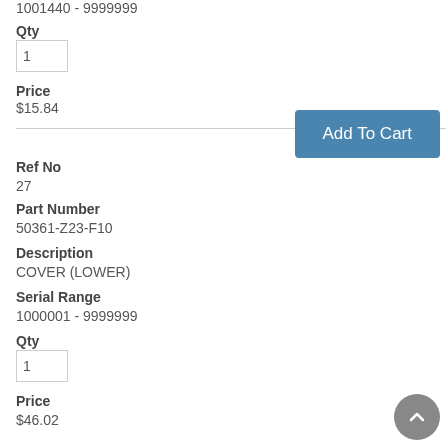1001440 - 9999999
Qty
Price
$15.84
Ref No
27
Part Number
50361-Z23-F10
Description
COVER (LOWER)
Serial Range
1000001 - 9999999
Qty
Price
$46.02